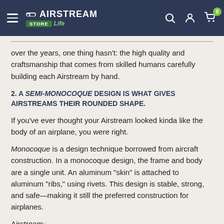Airstream Store Life — navigation bar with logo, search, account, cart
over the years, one thing hasn't: the high quality and craftsmanship that comes from skilled humans carefully building each Airstream by hand.
2. A SEMI-MONOCOQUE DESIGN IS WHAT GIVES AIRSTREAMS THEIR ROUNDED SHAPE.
If you've ever thought your Airstream looked kinda like the body of an airplane, you were right.
Monocoque is a design technique borrowed from aircraft construction. In a monocoque design, the frame and body are a single unit. An aluminum "skin" is attached to aluminum "ribs," using rivets. This design is stable, strong, and safe—making it still the preferred construction for airplanes.
Airstreams...